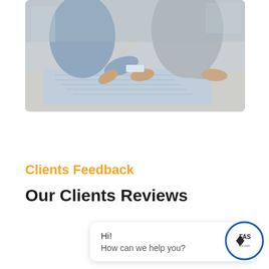[Figure (photo): Two business professionals in suits leaning over a table reviewing architectural blueprints or technical drawings. One person is pointing at the document.]
Clients Feedback
Our Clients Reviews
Hi! How can we help you?
[Figure (logo): FAS logo: a blue circle border with a diamond/arrow icon and the text FAS inside, with small text below.]